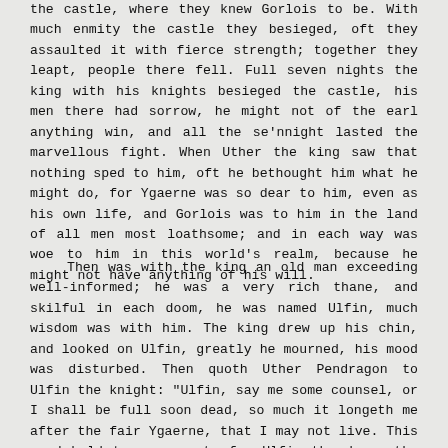the castle, where they knew Gorlois to be. With much enmity the castle they besieged, oft they assaulted it with fierce strength; together they leapt, people there fell. Full seven nights the king with his knights besieged the castle, his men there had sorrow, he might not of the earl anything win, and all the se'nnight lasted the marvellous fight. When Uther the king saw that nothing sped to him, oft he bethought him what he might do, for Ygaerne was so dear to him, even as his own life, and Gorlois was to him in the land of all men most loathsome; and in each way was woe to him in this world's realm, because he might not have anything of his will.
Then was with the king an old man exceeding well-informed; he was a very rich thane, and skilful in each doom, he was named Ulfin, much wisdom was with him. The king drew up his chin, and looked on Ulfin, greatly he mourned, his mood was disturbed. Then quoth Uther Pendragon to Ulfin the knight: "Ulfin, say me some counsel, or I shall be full soon dead, so much it longeth me after the fair Ygaerne, that I may not live. This word hold to me secret; for Ulfin the dear, thy good counsels,